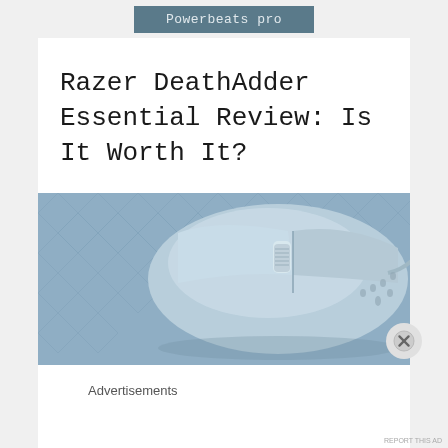[Figure (screenshot): Advertisement button labeled 'Powerbeats pro' with dark teal/slate background]
Razer DeathAdder Essential Review: Is It Worth It?
[Figure (photo): Close-up photo of a light blue/white Razer DeathAdder Essential gaming mouse on a patterned blue surface, showing the scroll wheel and right side buttons]
Advertisements
REPORT THIS AD